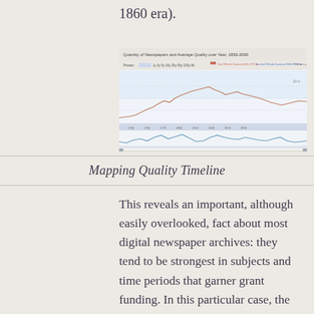1860 era).
[Figure (continuous-plot): Mapping Quality Timeline chart showing a line graph of newspaper digitization quality over time from approximately 1820 to 2000, with legend entries for Total Words Scanned and Current Words Scanned with OCR. The chart has a light blue shaded background region and shows fluctuating line values.]
Mapping Quality Timeline
This reveals an important, although easily overlooked, fact about most digital newspaper archives: they tend to be strongest in subjects and time periods that garner grant funding. In this particular case, the UNT libraries digitized the bulk of their newspaper content according to the requirements of Chronicling America's 2007 digitization